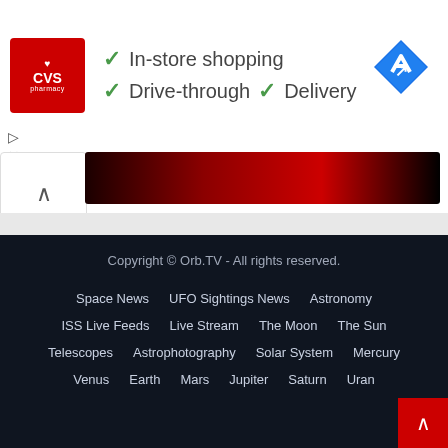[Figure (screenshot): CVS Pharmacy advertisement banner with logo, checkmarks for In-store shopping, Drive-through, and Delivery services, and a navigation map icon]
[Figure (screenshot): Dark video preview thumbnail with a card showing an up chevron arrow]
Copyright © Orb.TV - All rights reserved.
Space News   UFO Sightings News   Astronomy
ISS Live Feeds   Live Stream   The Moon   The Sun
Telescopes   Astrophotography   Solar System   Mercury
Venus   Earth   Mars   Jupiter   Saturn   Uran...